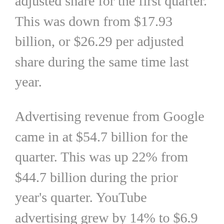adjusted share for the first quarter. This was down from $17.93 billion, or $26.29 per adjusted share during the same time last year.
Advertising revenue from Google came in at $54.7 billion for the quarter. This was up 22% from $44.7 billion during the prior year's quarter. YouTube advertising grew by 14% to $6.9 billion during the quarter compared with 25% during the previous quarter. The company attributed the reduction in advertising spending to the macro...